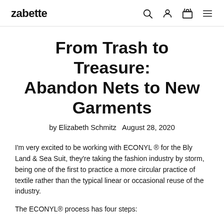zabette
From Trash to Treasure: Abandon Nets to New Garments
by Elizabeth Schmitz   August 28, 2020
I'm very excited to be working with ECONYL ® for the Bly Land & Sea Suit, they're taking the fashion industry by storm, being one of the first to practice a more circular practice of textile rather than the typical linear or occasional reuse of the industry.
The ECONYL® process has four steps: